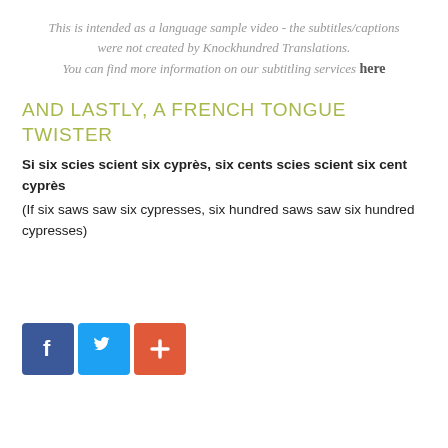This is intended as a language sample video - the subtitles/captions were not created by Knockhundred Translations.
You can find more information on our subtitling services here
AND LASTLY, A FRENCH TONGUE TWISTER
Si six scies scient six cyprès, six cents scies scient six cent cyprès
(If six saws saw six cypresses, six hundred saws saw six hundred cypresses)
[Figure (other): Three social media share buttons: Facebook (blue with f logo), Twitter (light blue with bird logo), and a red plus/share button]